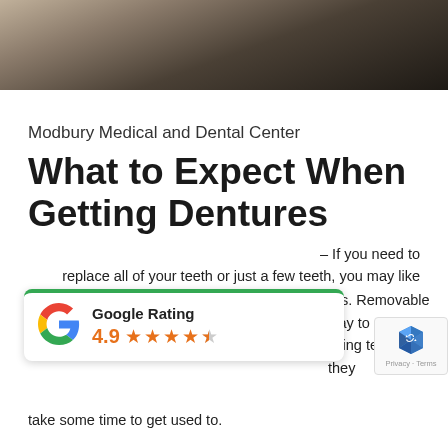[Figure (photo): Dark photograph showing a person, partially visible at the top of the page]
Modbury Medical and Dental Center
What to Expect When Getting Dentures
– If you need to replace all of your teeth or just a few teeth, you may like
[Figure (other): Google Rating widget showing 4.9 stars with green top border]
res. Removable way to restore the ssing teeth, but they take some time to get used to.